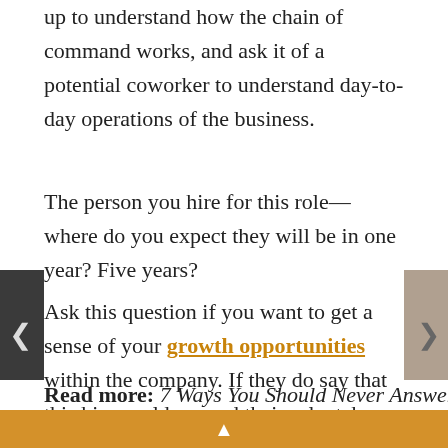up to understand how the chain of command works, and ask it of a potential coworker to understand day-to-day operations of the business.
The person you hire for this role—where do you expect they will be in one year? Five years?
Ask this question if you want to get a sense of your growth opportunities within the company. If they do say that this hire could expand their role, take on more responsibilities, or manage a team, ask for an example of someone in the organization who has done that.
Read more: 7 Ways You Should Never Answer "Why